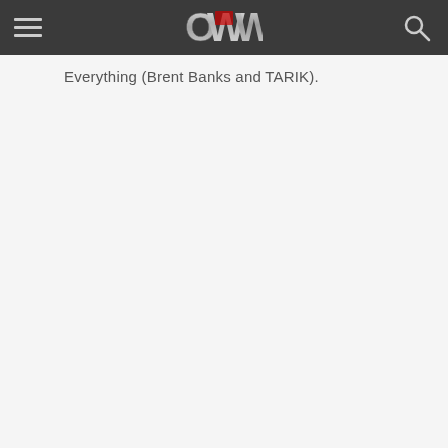OWW navigation header with hamburger menu, OWW logo, and search icon
Everything (Brent Banks and TARIK).